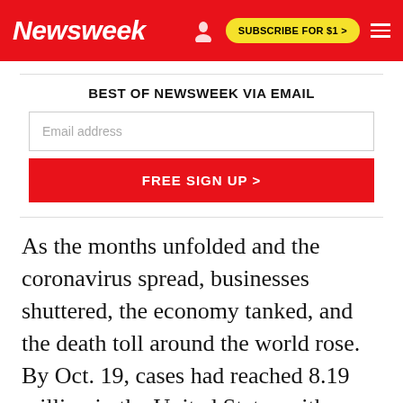Newsweek | SUBSCRIBE FOR $1 >
BEST OF NEWSWEEK VIA EMAIL
FREE SIGN UP >
As the months unfolded and the coronavirus spread, businesses shuttered, the economy tanked, and the death toll around the world rose. By Oct. 19, cases had reached 8.19 million in the United States with more than 220,000 deaths from the virus, according to